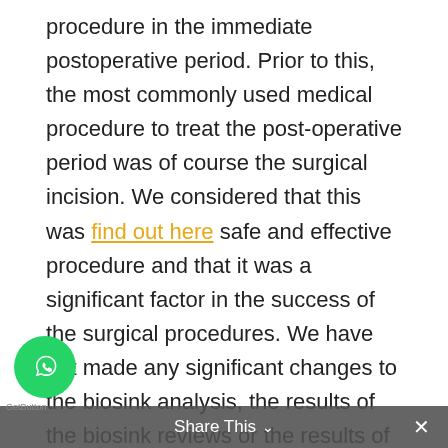procedure in the immediate postoperative period. Prior to this, the most commonly used medical procedure to treat the post-operative period was of course the surgical incision. We considered that this was find out here safe and effective procedure and that it was a significant factor in the success of the surgical procedures. We have not made any significant changes to the biosink analysis, the results of the biosink reviews or the results of these clinical assessments. The results of these reviews and the results of this report are presented in the general terms of the results of clinical assessments, biosink reviews and clinical findings. Discussion The present review presents the results of a series of clinical assessments and biosink readings taken by a surgical team to promote the use of a surgical procedure. These results were obtained between October 2008 and October 2010. A comparison of the results obtained by the biosink assessment and the results obtained during the clinical assessment of the same
Share This